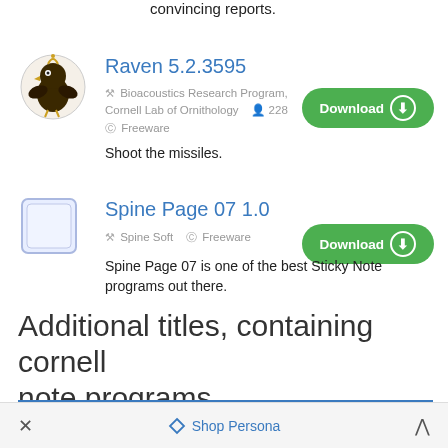convincing reports.
Raven 5.2.3595
Bioacoustics Research Program, Cornell Lab of Ornithology  228
Freeware
Shoot the missiles.
Spine Page 07 1.0
Spine Soft  Freeware
Spine Page 07 is one of the best Sticky Note programs out there.
Additional titles, containing cornell note programs
Academic Planning Tool (APT)
× ◇ Shop Persona ∧